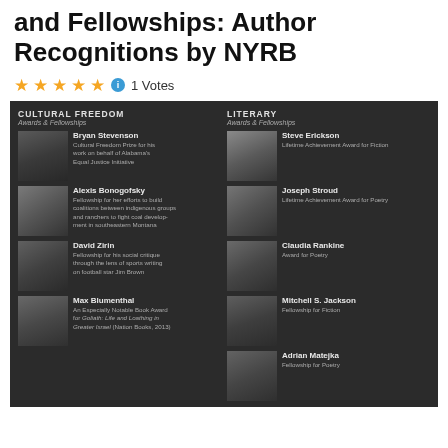and Fellowships: Author Recognitions by NYRB
★★★★★ ℹ 1 Votes
[Figure (infographic): Dark panel showing two columns: Cultural Freedom Awards & Fellowships (left) and Literary Awards & Fellowships (right), each with author photos and descriptions. Left column: Bryan Stevenson, Alexis Bonogofsky, David Zirin, Max Blumenthal. Right column: Steve Erickson, Joseph Stroud, Claudia Rankine, Mitchell S. Jackson, Adrian Matejka.]